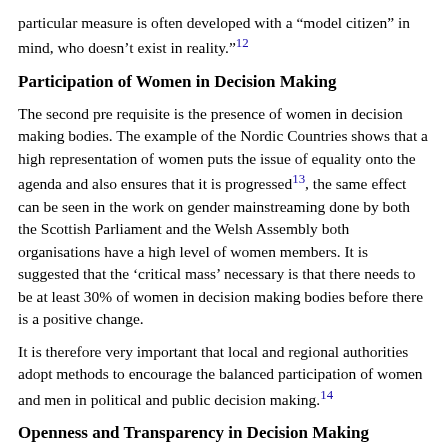particular measure is often developed with a "model citizen" in mind, who doesn't exist in reality."12
Participation of Women in Decision Making
The second pre requisite is the presence of women in decision making bodies. The example of the Nordic Countries shows that a high representation of women puts the issue of equality onto the agenda and also ensures that it is progressed13, the same effect can be seen in the work on gender mainstreaming done by both the Scottish Parliament and the Welsh Assembly both organisations have a high level of women members. It is suggested that the 'critical mass' necessary is that there needs to be at least 30% of women in decision making bodies before there is a positive change.
It is therefore very important that local and regional authorities adopt methods to encourage the balanced participation of women and men in political and public decision making.14
Openness and Transparency in Decision Making
The need for openness and transparency in decision making has been raised as a pre requisite for gender mainstreaming. Gender impact assessments will be improved by wide discussion and